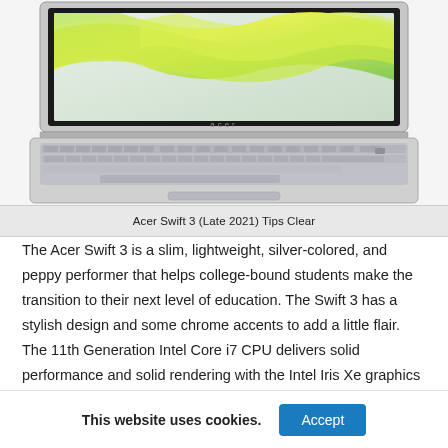[Figure (photo): Photo of an Acer Swift 3 laptop (Late 2021) viewed from above-front angle, showing a silver body with backlit keyboard, touchpad, and a colorful green/yellow abstract wallpaper on the screen. The Acer logo is visible on the screen bezel.]
Acer Swift 3 (Late 2021) Tips Clear
The Acer Swift 3 is a slim, lightweight, silver-colored, and peppy performer that helps college-bound students make the transition to their next level of education. The Swift 3 has a stylish design and some chrome accents to add a little flair. The 11th Generation Intel Core i7 CPU delivers solid performance and solid rendering with the Intel Iris Xe graphics card.
This website uses cookies.